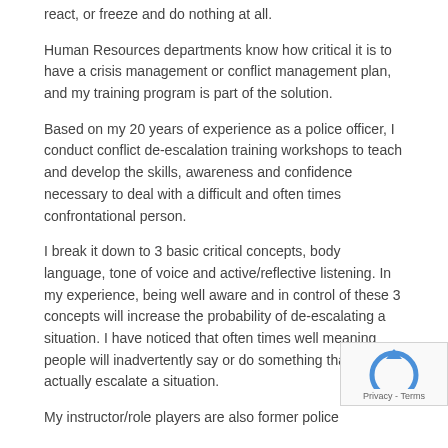react, or freeze and do nothing at all.
Human Resources departments know how critical it is to have a crisis management or conflict management plan, and my training program is part of the solution.
Based on my 20 years of experience as a police officer, I conduct conflict de-escalation training workshops to teach and develop the skills, awareness and confidence necessary to deal with a difficult and often times confrontational person.
I break it down to 3 basic critical concepts, body language, tone of voice and active/reflective listening. In my experience, being well aware and in control of these 3 concepts will increase the probability of de-escalating a situation. I have noticed that often times well meaning people will inadvertently say or do something that may actually escalate a situation.
My instructor/role players are also former police